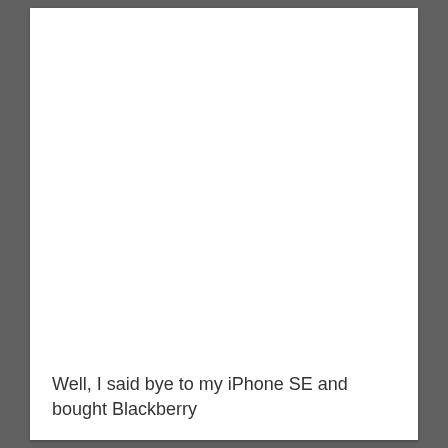Well, I said bye to my iPhone SE and bought Blackberry